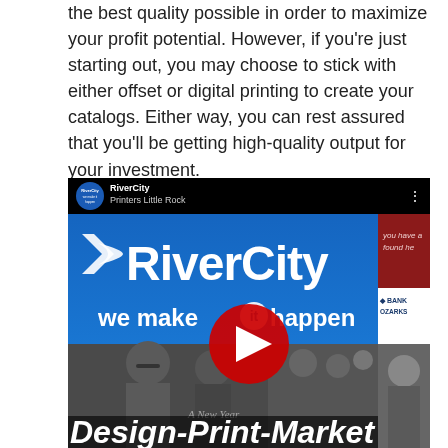the best quality possible in order to maximize your profit potential. However, if you're just starting out, you may choose to stick with either offset or digital printing to create your catalogs. Either way, you can rest assured that you'll be getting high-quality output for your investment.
[Figure (screenshot): YouTube video thumbnail for RiverCity Printers Little Rock. Shows the RiverCity logo with white arrow graphic on a blue background with the tagline 'we make it happen'. Bottom half shows a photo collage of printing workers and event scenes. A YouTube play button is overlaid in the center. At the bottom a 'Design-Print-Market' italic text banner.]